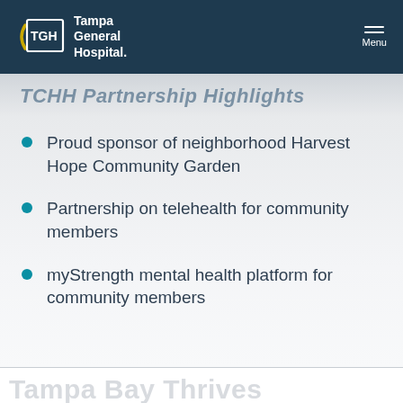TGH Tampa General Hospital | Menu
TCHH Partnership Highlights
Proud sponsor of neighborhood Harvest Hope Community Garden
Partnership on telehealth for community members
myStrength mental health platform for community members
SCHEDULE AN APPOINTMENT | Tampa Bay Thrives